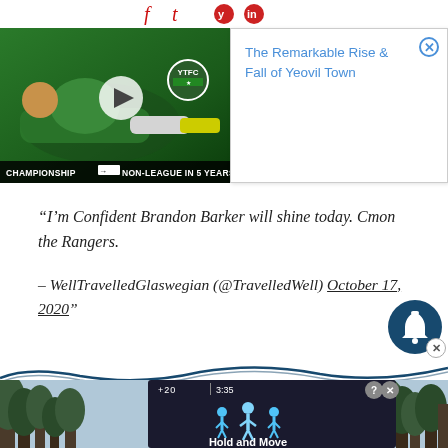[Figure (screenshot): Social media icons/logos partially visible at top of page]
[Figure (screenshot): Video thumbnail showing a soccer player lying on grass in green jersey, with Yeovil Town badge, play button overlay, and text overlay reading CHAMPIONSHIP -> NON-LEAGUE IN 5 YEARS]
[Figure (screenshot): Advertisement popup with close button showing text: The Remarkable Rise & Fall of Yeovil Town]
“I’m Confident Brandon Barker will shine today. Cmon the Rangers.

– WellTravelledGlaswegian (@TravelledWell) October 17, 2020”
[Figure (screenshot): Bell/notification icon (dark blue circle with white bell) with close X button]
[Figure (screenshot): Wave/swoosh decorative line in dark blue across the page]
[Figure (screenshot): Bottom advertisement banner showing Hold and Move app/game with person icons and nature background, with ? and X control buttons]